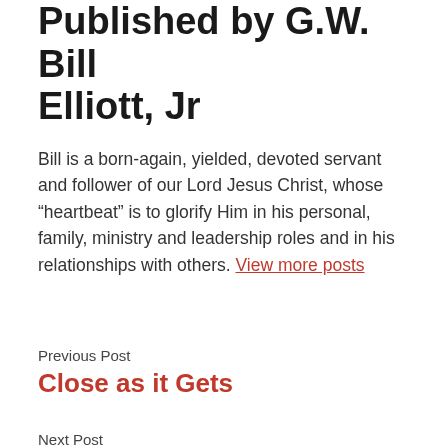Published by G.W. Bill Elliott, Jr
Bill is a born-again, yielded, devoted servant and follower of our Lord Jesus Christ, whose “heartbeat” is to glorify Him in his personal, family, ministry and leadership roles and in his relationships with others. View more posts
Previous Post
Close as it Gets
Next Post
Get In God’s Face